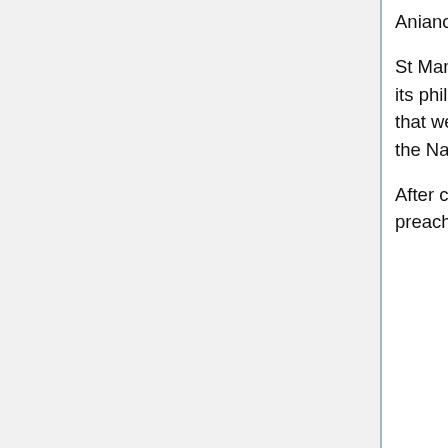Anianos assistants were Mlios, Kardanos, and Primos.
St Mark founded the School of Alexandria to counteract the idolatrous school in Alexandria which had become world famous for its philosophy, science, medicine, mathematics, and astronomy. St Mark wrote the Apostles Teachings, Rituals, and Traditions that were specific for the See of Alexandria. Following all of this, St Mark departed Alexandria in 65 AD to further his ministry in the Name of the Lord Jesus Christ in the Five Western Cities in Northern Africa.
After continuing to strengthen the churches in North Africa, St Mark at St Paul's request joined the apostle in Rome to help in preaching and teaching those there. St Paul stated in the two